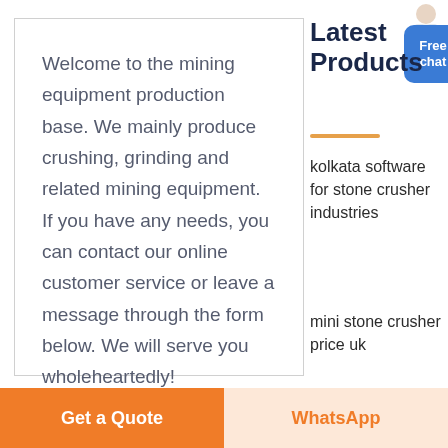Welcome to the mining equipment production base. We mainly produce crushing, grinding and related mining equipment. If you have any needs, you can contact our online customer service or leave a message through the form below. We will serve you wholeheartedly!
Latest Products
kolkata software for stone crusher industries
mini stone crusher price uk
Get a Quote
WhatsApp